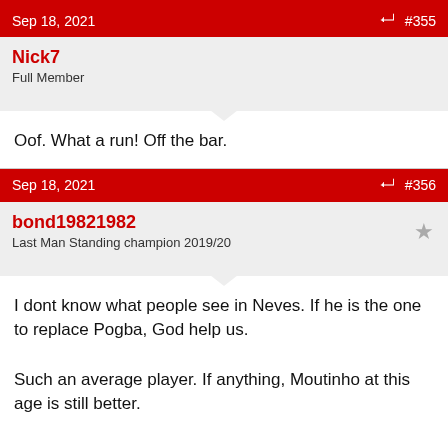Sep 18, 2021  #355
Nick7
Full Member
Oof. What a run! Off the bar.
Sep 18, 2021  #356
bond19821982
Last Man Standing champion 2019/20
I dont know what people see in Neves. If he is the one to replace Pogba, God help us.

Such an average player. If anything, Moutinho at this age is still better.